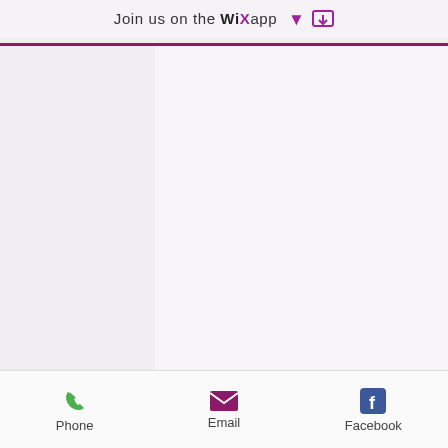Join us on the WiX app ⬇
[Figure (other): Large blank/empty content area, light gray-white background, representing a webpage screenshot with no loaded image content]
Clen weight loss results reddit
Phone   Email   Facebook